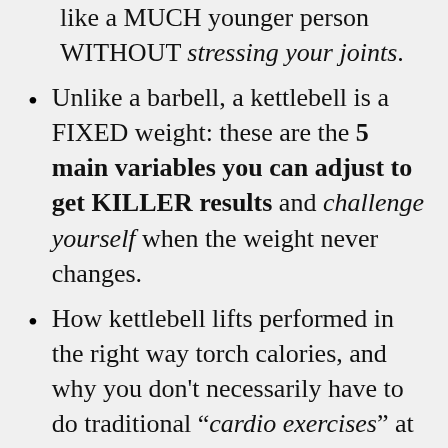like a MUCH younger person WITHOUT stressing your joints.
Unlike a barbell, a kettlebell is a FIXED weight: these are the 5 main variables you can adjust to get KILLER results and challenge yourself when the weight never changes.
How kettlebell lifts performed in the right way torch calories, and why you don't necessarily have to do traditional “cardio exercises” at all to burn calories and lose body